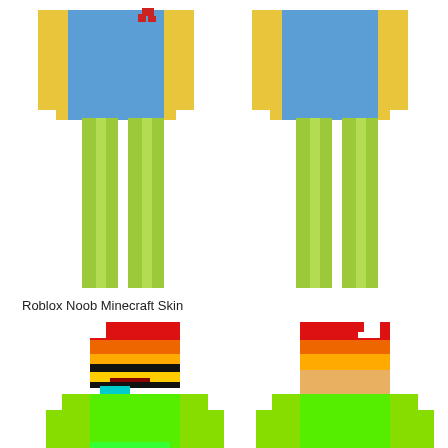[Figure (illustration): Minecraft skin front and back view of a Roblox Noob character with yellow body, blue torso, and green legs, shown in pixel art style]
Roblox Noob Minecraft Skin
[Figure (illustration): Minecraft skin front and back view of a rainbow-colored character with red/orange/yellow gradient head, green body, and white accents, shown in pixel art style]